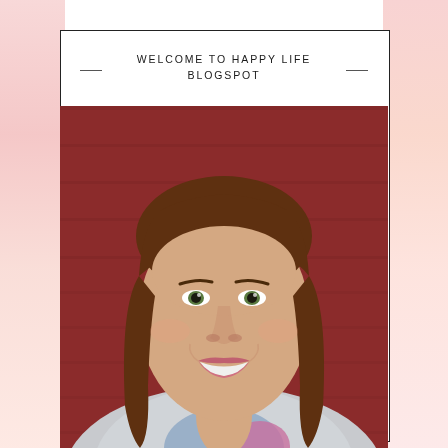WELCOME TO HAPPY LIFE BLOGSPOT
[Figure (photo): Smiling woman with straight brown hair standing in front of a red wooden wall, wearing a light blue shirt and grey jacket/hoodie. Selfie-style photo.]